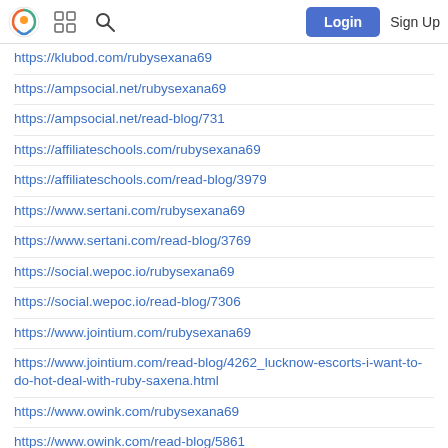Login | Sign Up
https://klubod.com/rubysexana69
https://ampsocial.net/rubysexana69
https://ampsocial.net/read-blog/731
https://affiliateschools.com/rubysexana69
https://affiliateschools.com/read-blog/3979
https://www.sertani.com/rubysexana69
https://www.sertani.com/read-blog/3769
https://social.wepoc.io/rubysexana69
https://social.wepoc.io/read-blog/7306
https://www.jointium.com/rubysexana69
https://www.jointium.com/read-blog/4262_lucknow-escorts-i-want-to-do-hot-deal-with-ruby-saxena.html
https://www.owink.com/rubysexana69
https://www.owink.com/read-blog/5861
https://jibonbook.com/rubysexana69
http://reddanesasion.parentinmifuture.com/rubysexana69